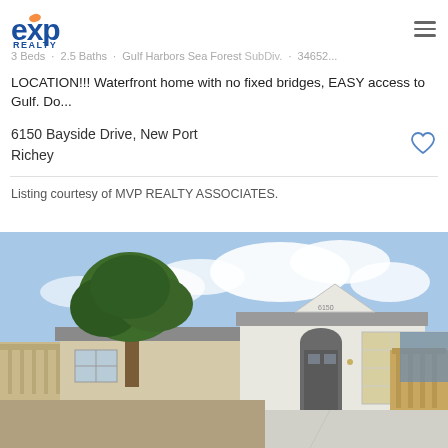[Figure (logo): eXp Realty logo]
3 Beds · 2.5 Baths · Gulf Harbors Sea Forest SubDiv. · 34652...
LOCATION!!! Waterfront home with no fixed bridges, EASY access to Gulf. Do...
6150 Bayside Drive, New Port Richey
Listing courtesy of MVP REALTY ASSOCIATES.
[Figure (photo): Exterior front view of a single-story white stucco home with a two-car garage, arched entry, large tree in front yard, and concrete driveway. Blue cloudy sky in background.]